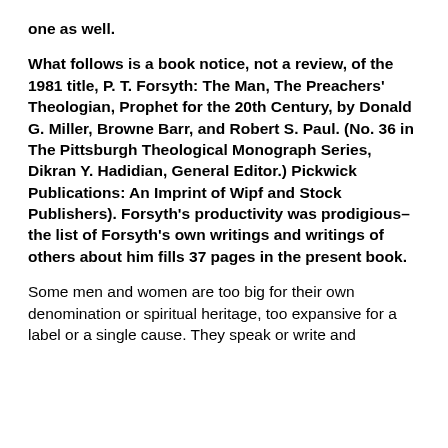one as well.
What follows is a book notice, not a review, of the 1981 title, P. T. Forsyth: The Man, The Preachers' Theologian, Prophet for the 20th Century, by Donald G. Miller, Browne Barr, and Robert S. Paul. (No. 36 in The Pittsburgh Theological Monograph Series, Dikran Y. Hadidian, General Editor.) Pickwick Publications: An Imprint of Wipf and Stock Publishers). Forsyth's productivity was prodigious–the list of Forsyth's own writings and writings of others about him fills 37 pages in the present book.
Some men and women are too big for their own denomination or spiritual heritage, too expansive for a label or a single cause. They speak or write and